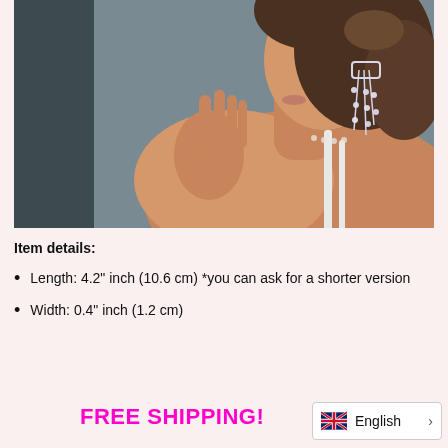[Figure (photo): A woman in profile/side view wearing a sparkly crystal chandelier earring and a white strappy top, photographed against a gray background. Her hand is raised near her chin.]
Item details:
Length: 4.2" inch (10.6 cm) *you can ask for a shorter version
Width: 0.4" inch (1.2 cm)
FREE SHIPPING!
English >